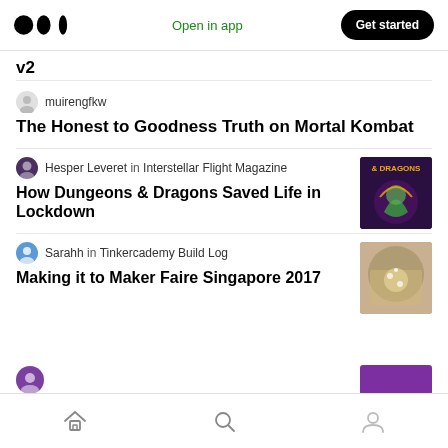Medium logo | Open in app | Get started
v2
muirengfkw
The Honest to Goodness Truth on Mortal Kombat
Hesper Leveret in Interstellar Flight Magazine
How Dungeons & Dragons Saved Life in Lockdown
Sarahh in Tinkercademy Build Log
Making it to Maker Faire Singapore 2017